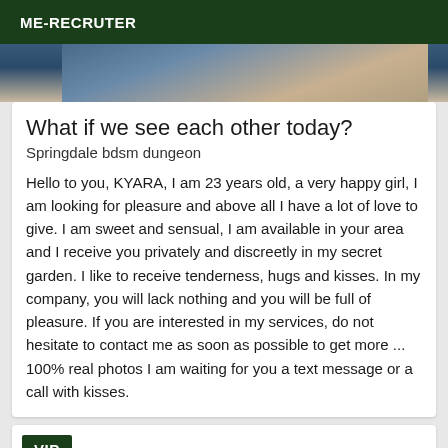ME-RECRUTER
[Figure (photo): Partial photo of a person, cropped, showing upper body area]
What if we see each other today?
Springdale bdsm dungeon
Hello to you, KYARA, I am 23 years old, a very happy girl, I am looking for pleasure and above all I have a lot of love to give. I am sweet and sensual, I am available in your area and I receive you privately and discreetly in my secret garden. I like to receive tenderness, hugs and kisses. In my company, you will lack nothing and you will be full of pleasure. If you are interested in my services, do not hesitate to contact me as soon as possible to get more ... 100% real photos I am waiting for you a text message or a call with kisses.
VIP